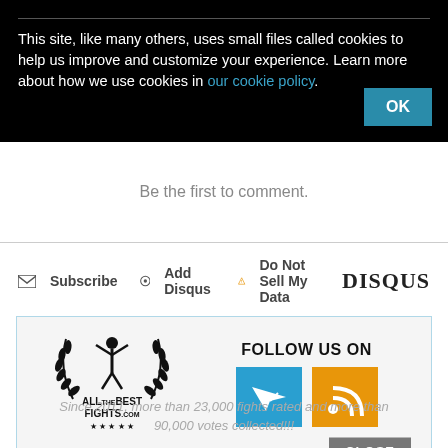This site, like many others, uses small files called cookies to help us improve and customize your experience. Learn more about how we use cookies in our cookie policy.
OK
Be the first to comment.
Subscribe  Add Disqus  Do Not Sell My Data  DISQUS
[Figure (logo): AllTheBestFights.com logo with laurel wreath and boxing figure]
FOLLOW US ON
[Figure (logo): Telegram icon (blue square with paper plane arrow)]
[Figure (logo): RSS icon (orange square with RSS symbol)]
CLOSE
Since 2011, more than 23,000 fights rated and more than 90,000 votes collected!!!